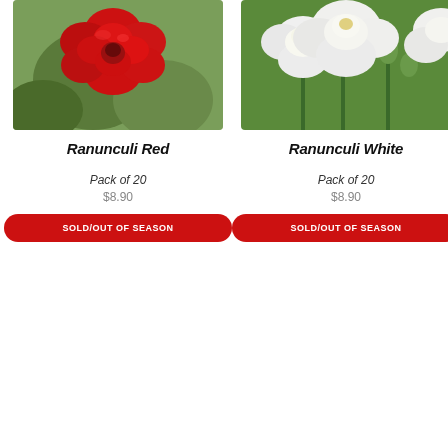[Figure (photo): Close-up photo of a red ranunculus flower with layered petals against green foliage background]
Ranunculi Red
Pack of 20
$8.90
SOLD/OUT OF SEASON
[Figure (photo): Photo of white ranunculus flowers with stems and green buds against a garden background]
Ranunculi White
Pack of 20
$8.90
SOLD/OUT OF SEASON